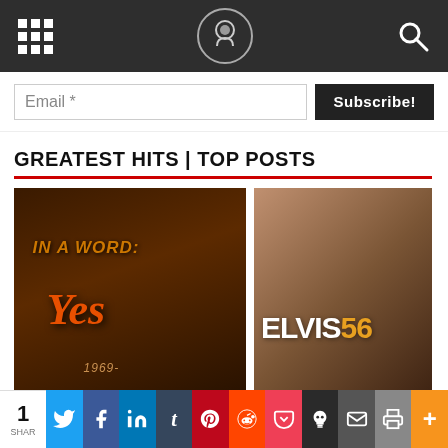Navigation bar with grid menu, logo, and search icon
Email *  Subscribe!
GREATEST HITS | TOP POSTS
[Figure (photo): Album cover: In A Word: Yes, 1969-]
[Figure (photo): Album cover: Elvis 56]
[Figure (photo): Album cover: His Hand in Mine - Living Stereo, RCA Victor]
[Figure (photo): Dark image with red circle coffee cup icon]
1 SHAR | Twitter | Facebook | LinkedIn | Tumblr | Pinterest | Reddit | Pocket | Skull | Email | Print | More